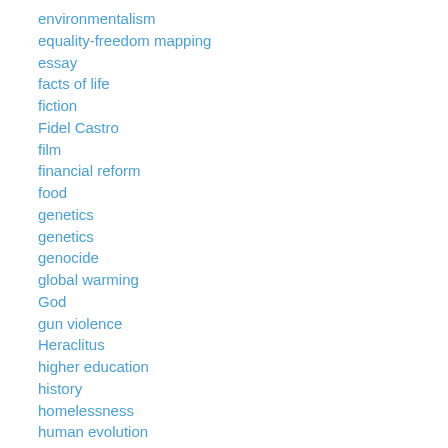environmentalism
equality-freedom mapping
essay
facts of life
fiction
Fidel Castro
film
financial reform
food
genetics
genetics
genocide
global warming
God
gun violence
Heraclitus
higher education
history
homelessness
human evolution